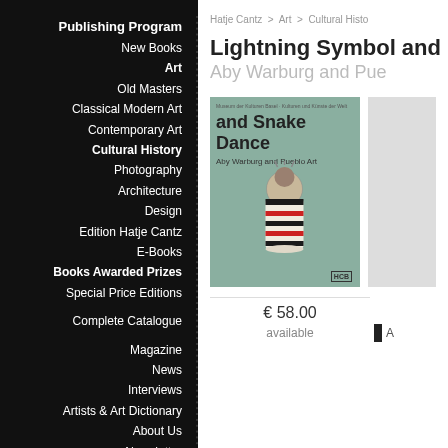Publishing Program
New Books
Art
Old Masters
Classical Modern Art
Contemporary Art
Cultural History
Photography
Architecture
Design
Edition Hatje Cantz
E-Books
Books Awarded Prizes
Special Price Editions
Complete Catalogue
Magazine
News
Interviews
Artists & Art Dictionary
About Us
Newsletter
Hatje Cantz > Art > Cultural Histo
Lightning Symbol and
Aby Warburg and Pue
[Figure (photo): Book cover of 'Lightning Symbol and Snake Dance: Aby Warburg and Pueblo Art' on a sage green background, showing a decorative Native American pottery vessel or kachina doll with geometric patterns in black, white and red.]
[Figure (photo): Partial view of a second book or item, showing only a grey/light colored edge on the right side.]
€ 58.00
available
A